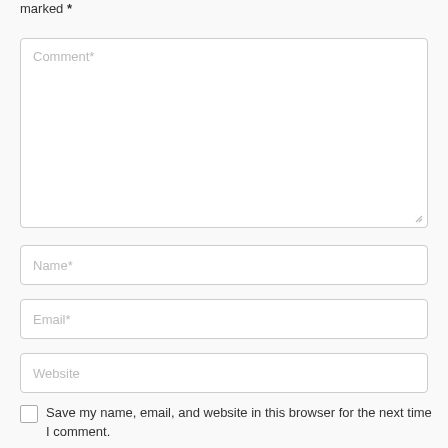marked *
[Figure (screenshot): Comment text area input field with placeholder text 'Comment*' and resize handle at bottom right]
[Figure (screenshot): Name input field with placeholder text 'Name*']
[Figure (screenshot): Email input field with placeholder text 'Email*']
[Figure (screenshot): Website input field with placeholder text 'Website']
Save my name, email, and website in this browser for the next time I comment.